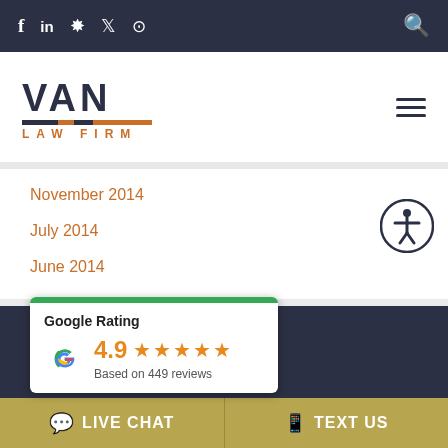f in ☆ 𝕏 ⊙ [social icons] [search icon]
[Figure (logo): VAN LAW FIRM logo with decorative bar in dark navy and orange colors]
November 2014
July 2014
June 2014
[Figure (infographic): Google Rating card showing 4.9 stars based on 449 reviews]
LIVE CHAT  |  TEXT US